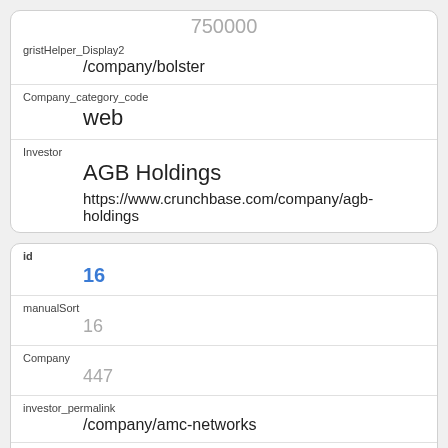| gristHelper_Display2 | /company/bolster |
| Company_category_code | web |
| Investor | AGB Holdings
https://www.crunchbase.com/company/agb-holdings |
| id | 16 |
| manualSort | 16 |
| Company | 447 |
| investor_permalink | /company/amc-networks |
| investor_name | AMC Networks |
| investor_category_code |  |